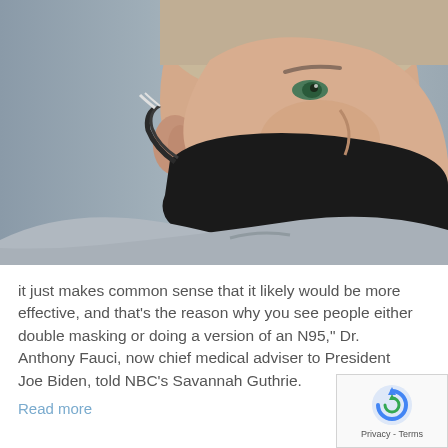[Figure (photo): Close-up side profile of a young man wearing a black face mask and a grey hoodie, looking upward against a blurred grey background.]
it just makes common sense that it likely would be more effective, and that's the reason why you see people either double masking or doing a version of an N95," Dr. Anthony Fauci, now chief medical adviser to President Joe Biden, told NBC's Savannah Guthrie.
Read more